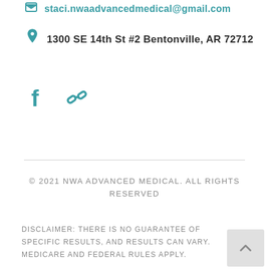staci.nwaadvancedmedical@gmail.com
1300 SE 14th St #2 Bentonville, AR 72712
[Figure (illustration): Facebook icon and chain/link icon in teal color]
© 2021 NWA ADVANCED MEDICAL. ALL RIGHTS RESERVED
DISCLAIMER: THERE IS NO GUARANTEE OF SPECIFIC RESULTS, AND RESULTS CAN VARY. MEDICARE AND FEDERAL RULES APPLY.